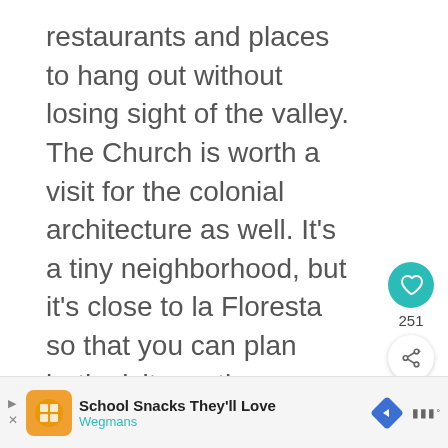restaurants and places to hang out without losing sight of the valley. The Church is worth a visit for the colonial architecture as well. It's a tiny neighborhood, but it's close to la Floresta so that you can plan both visits on the same day.
[Figure (other): Teal circular like/heart button with heart icon, showing count 251 below it, and a share button (circular with share icon) below that]
[Figure (other): What's Next section with thumbnail image and text '9 amazing free things to do ...']
[Figure (other): Advertisement bar: School Snacks They'll Love - Wegmans, with orange logo icon, blue navigation diamond, and menu icon]